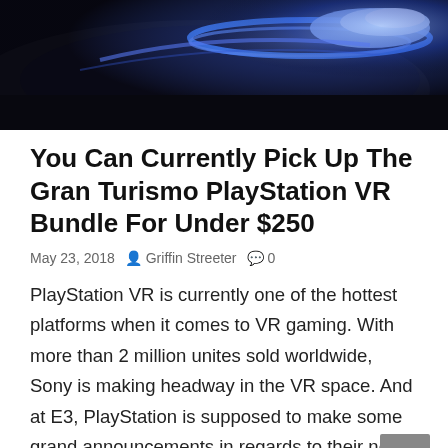[Figure (photo): Close-up photo of a PlayStation VR headset with blue LED lighting against a dark background]
You Can Currently Pick Up The Gran Turismo PlayStation VR Bundle For Under $250
May 23, 2018  Griffin Streeter  0
PlayStation VR is currently one of the hottest platforms when it comes to VR gaming. With more than 2 million unites sold worldwide, Sony is making headway in the VR space. And at E3, PlayStation is supposed to make some grand announcements in regards to their next big VR titles. They will be releasing some [.
| READ MORE